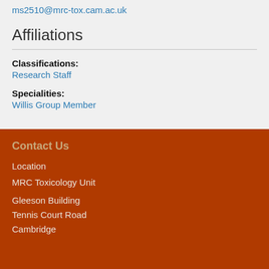ms2510@mrc-tox.cam.ac.uk
Affiliations
Classifications: Research Staff
Specialities: Willis Group Member
Contact Us
Location
MRC Toxicology Unit
Gleeson Building
Tennis Court Road
Cambridge